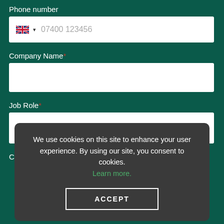Phone number
[Figure (screenshot): Phone number input field with UK flag icon and placeholder text '07400 123456']
Company Name *
[Figure (screenshot): Empty Company Name text input field]
Job Role *
[Figure (screenshot): Job Role dropdown selector with 'Please select' placeholder and dropdown arrow]
Country *
[Figure (screenshot): Cookie consent overlay with accept button. Text: 'We use cookies on this site to enhance your user experience. By using our site, you consent to cookies. Learn more.' and an ACCEPT button.]